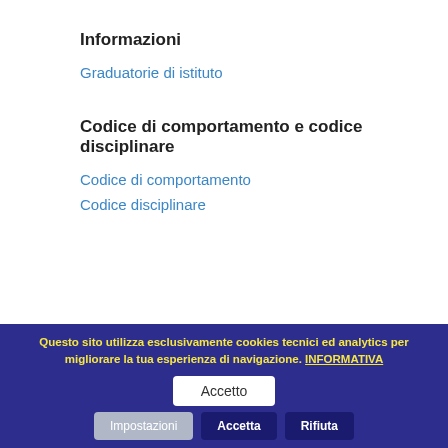Informazioni
Graduatorie di istituto
Codice di comportamento e codice disciplinare
Codice di comportamento
Codice disciplinare
sto sito utilizza cookie di tipo tecnico, per cui le informazioni raccolte non saranno utilizzate per finalità commerciali nè comunicate a terze parti.
Potrebbero essere presenti collegamenti esterni (esempio social, youtube, maps) per le cui policy si rimanda ai portali collegati, in quanto tali contenuti non sono trattati da questo sito.
Questo sito utilizza esclusivamente cookies tecnici ed analytics per migliorare la tua esperienza di navigazione. INFORMATIVA
Accetto
Impostazioni Accetta Rifiuta